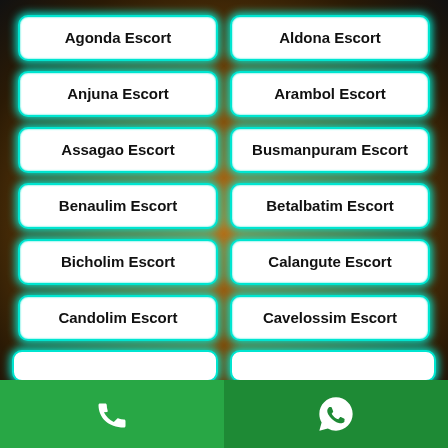Agonda Escort
Aldona Escort
Anjuna Escort
Arambol Escort
Assagao Escort
Busmanpuram Escort
Benaulim Escort
Betalbatim Escort
Bicholim Escort
Calangute Escort
Candolim Escort
Cavelossim Escort
[Figure (infographic): Green bottom bar with phone icon on left half and WhatsApp icon on right half]